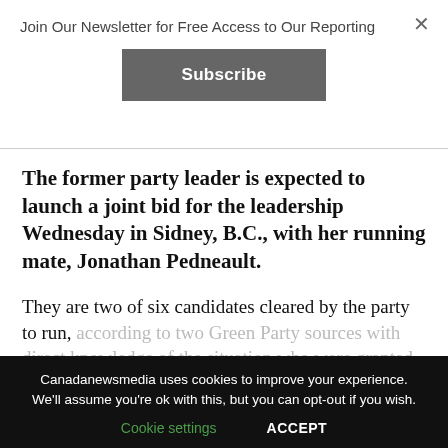Join Our Newsletter for Free Access to Our Reporting
[Figure (screenshot): Subscribe button — dark grey rounded rectangle with white bold text 'Subscribe']
The former party leader is expected to launch a joint bid for the leadership Wednesday in Sidney, B.C., with her running mate, Jonathan Pedneault.
They are two of six candidates cleared by the party to run, according to two Green Party sources with direct knowledge of the situation who were granted anonymity
[Figure (screenshot): CONTINUE READING button — outlined rectangle with bold uppercase text]
Canadanewsmedia uses cookies to improve your experience. We'll assume you're ok with this, but you can opt-out if you wish.
Cookie settings   ACCEPT